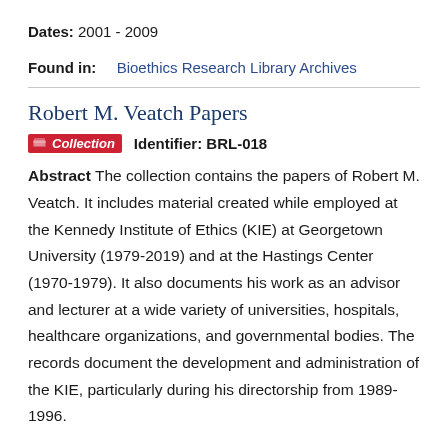Dates: 2001 - 2009
Found in: Bioethics Research Library Archives
Robert M. Veatch Papers
Collection   Identifier: BRL-018
Abstract The collection contains the papers of Robert M. Veatch. It includes material created while employed at the Kennedy Institute of Ethics (KIE) at Georgetown University (1979-2019) and at the Hastings Center (1970-1979). It also documents his work as an advisor and lecturer at a wide variety of universities, hospitals, healthcare organizations, and governmental bodies. The records document the development and administration of the KIE, particularly during his directorship from 1989-1996.